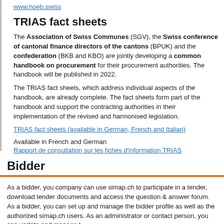www.hoeb.swiss
TRIAS fact sheets
The Association of Swiss Communes (SGV), the Swiss conference of cantonal finance directors of the cantons (BPUK) and the confederation (BKB and KBO) are jointly developing a common handbook on procurement for their procurement authorities. The handbook will be published in 2022.
The TRIAS fact sheets, which address individual aspects of the handbook, are already complete. The fact sheets form part of the handbook and support the contracting authorities in their implementation of the revised and harmonised legislation.
TRIAS fact sheets (available in German, French and Italian)
Available in French and German
Rapport de consultation sur les fiches d'information TRIAS
Vernehmlassungsbericht zu den Faltenblättern TRIAS
Bidder
As a bidder, you company can use simap.ch to participate in a tender, download tender documents and access the question & answer forum. As a bidder, you can set up and manage the bidder profile as well as the authorized simap.ch users. As an administrator or contact person, you can update and manage t